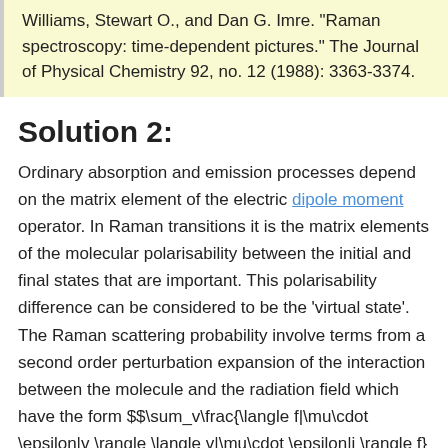Williams, Stewart O., and Dan G. Imre. "Raman spectroscopy: time-dependent pictures." The Journal of Physical Chemistry 92, no. 12 (1988): 3363-3374.
Solution 2:
Ordinary absorption and emission processes depend on the matrix element of the electric dipole moment operator. In Raman transitions it is the matrix elements of the molecular polarisability between the initial and final states that are important. This polarisability difference can be considered to be the 'virtual state'. The Raman scattering probability involve terms from a second order perturbation expansion of the interaction between the molecule and the radiation field which have the form $$\sum_v\frac{\langle f|\mu\cdot \epsilon|v \rangle \langle v|\mu\cdot \epsilon|i \rangle f}{h\nu_{ex}-(E_v-E_f)}$$